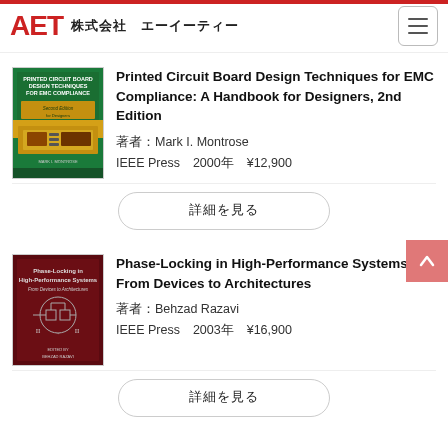AET 株式会社 エーイーティー
[Figure (illustration): Book cover: Printed Circuit Board Design Techniques for EMC Compliance, 2nd Edition, green and gold circuit board design]
Printed Circuit Board Design Techniques for EMC Compliance: A Handbook for Designers, 2nd Edition
著者：Mark I. Montrose
IEEE Press　2000年　¥12,900
詳細を見る
[Figure (illustration): Book cover: Phase-Locking in High-Performance Systems: From Devices to Architectures, dark red cover]
Phase-Locking in High-Performance Systems: From Devices to Architectures
著者：Behzad Razavi
IEEE Press　2003年　¥16,900
詳細を見る